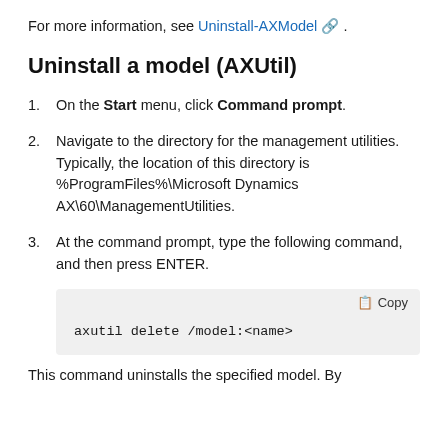For more information, see Uninstall-AXModel .
Uninstall a model (AXUtil)
On the Start menu, click Command prompt.
Navigate to the directory for the management utilities. Typically, the location of this directory is %ProgramFiles%\Microsoft Dynamics AX\60\ManagementUtilities.
At the command prompt, type the following command, and then press ENTER.
axutil delete /model:<name>
This command uninstalls the specified model. By